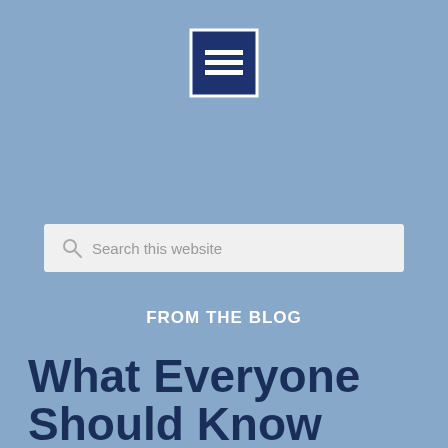[Figure (logo): Dark navy blue square icon with three white horizontal lines (hamburger/menu icon) centered inside, with a white border around the square]
[Figure (screenshot): Search bar with magnifying glass icon and placeholder text 'Search this website' on a light gray background]
FROM THE BLOG
What Everyone Should Know